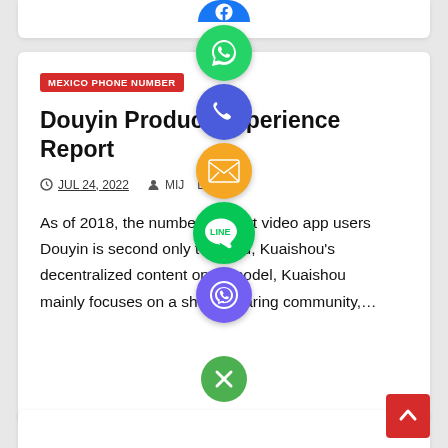[Figure (screenshot): Social sharing sidebar with icons: blue (partial/Facebook), green (WhatsApp), indigo/blue (phone/Viber), orange (email), green (LINE), purple (Viber), green close button, and red back-to-top button overlaid on article cards]
MEXICO PHONE NUMBER
Douyin Product Experience Report
JUL 24, 2022   MIJ[...]L
As of 2018, the number of short video app users Douyin is second only t[...]hou, Kuaishou's decentralized content op[...]n model, Kuaishou mainly focuses on a sho[...]o sharing community,...